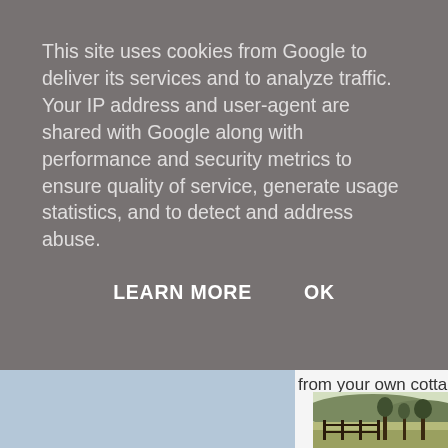This site uses cookies from Google to deliver its services and to analyze traffic. Your IP address and user-agent are shared with Google along with performance and security metrics to ensure quality of service, generate usage statistics, and to detect and address abuse.
LEARN MORE    OK
from your own cottage
[Figure (photo): Partial landscape photo showing countryside with trees, fence, and hills in background, visible at bottom right of the page.]